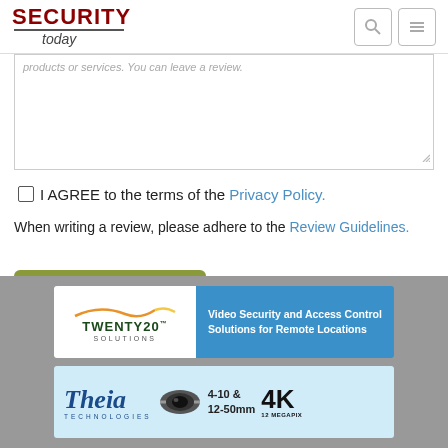SECURITY today
products or services. You can leave a review.
I AGREE to the terms of the Privacy Policy.
When writing a review, please adhere to the Review Guidelines.
Send My Review
[Figure (screenshot): TWENTY20 SOLUTIONS banner ad for Video Security and Access Control Solutions for Remote Locations]
[Figure (screenshot): Theia Technologies banner ad for 4-10 & 12-50mm 4K 12 Megapix lenses]